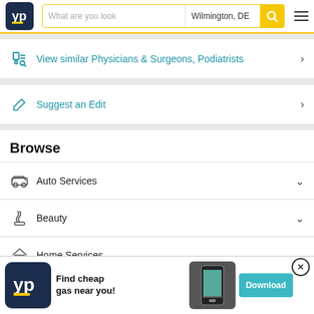YP – What are you looking for? – Wilmington, DE
View similar Physicians & Surgeons, Podiatrists
Suggest an Edit
Browse
Auto Services
Beauty
Home Services
In...
M...
[Figure (screenshot): YP app advertisement banner: Find cheap gas near you! – Download button]